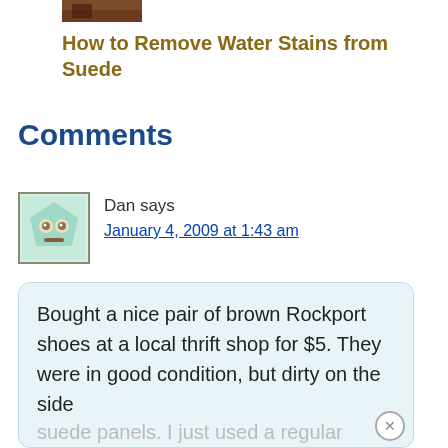[Figure (photo): Small thumbnail image of suede shoes or related content at top of page]
How to Remove Water Stains from Suede
Comments
Dan says January 4, 2009 at 1:43 am
Bought a nice pair of brown Rockport shoes at a local thrift shop for $5. They were in good condition, but dirty on the side suede panels. I just used a regular